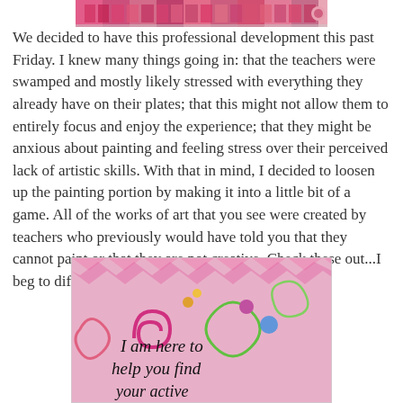[Figure (photo): Top partial image showing colorful artwork/painting strip at the top of the page]
We decided to have this professional development this past Friday. I knew many things going in: that the teachers were swamped and mostly likely stressed with everything they already have on their plates; that this might not allow them to entirely focus and enjoy the experience; that they might be anxious about painting and feeling stress over their perceived lack of artistic skills. With that in mind, I decided to loosen up the painting portion by making it into a little bit of a game. All of the works of art that you see were created by teachers who previously would have told you that they cannot paint or that they are not creative. Check these out...I beg to differ!
[Figure (photo): Colorful painting with swirls, flowers, and text reading 'I am here to help you find your active' on a bright pink and multicolored background]